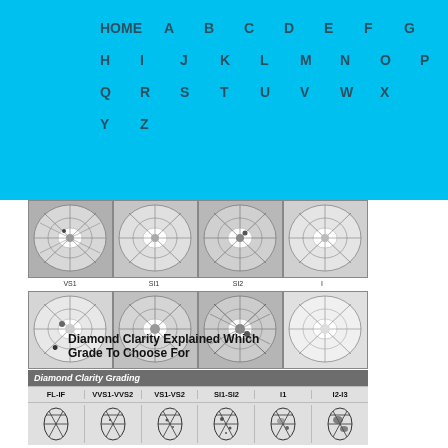HOME A B C D E F G H I J K L M N O P Q R S T U V W X Y Z
[Figure (photo): Grid of 8 round-cut diamond photos arranged in 2 rows of 4, showing different clarity grades. Labels below first row: VS1, SI1, SI2, I. Second row shows SI1, SI2, another clarity grade, and a lighter clarity grade.]
Diamond Clarity Explained Which Grade To Choose For
[Figure (table-as-image): Diamond Clarity Grading table with header row showing: FL-IF, VVS1-VVS2, VS1-VS2, SI1-SI2, I1, I2-I3, and a row of oval diamond diagrams showing inclusion levels.]